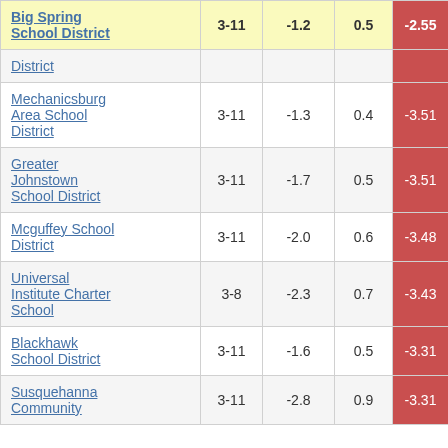| School District | Grades | Col3 | Col4 | Score |
| --- | --- | --- | --- | --- |
| Big Spring School District | 3-11 | -1.2 | 0.5 | -2.55 |
| District |  |  |  |  |
| Mechanicsburg Area School District | 3-11 | -1.3 | 0.4 | -3.51 |
| Greater Johnstown School District | 3-11 | -1.7 | 0.5 | -3.51 |
| Mcguffey School District | 3-11 | -2.0 | 0.6 | -3.48 |
| Universal Institute Charter School | 3-8 | -2.3 | 0.7 | -3.43 |
| Blackhawk School District | 3-11 | -1.6 | 0.5 | -3.31 |
| Susquehanna Community | 3-11 | -2.8 | 0.9 | -3.31 |